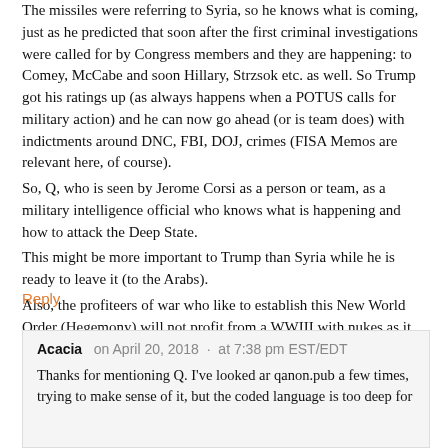The missiles were referring to Syria, so he knows what is coming, just as he predicted that soon after the first criminal investigations were called for by Congress members and they are happening: to Comey, McCabe and soon Hillary, Strzsok etc. as well. So Trump got his ratings up (as always happens when a POTUS calls for military action) and he can now go ahead (or is team does) with indictments around DNC, FBI, DOJ, crimes (FISA Memos are relevant here, of course). So, Q, who is seen by Jerome Corsi as a person or team, as a military intelligence official who knows what is happening and how to attack the Deep State. This might be more important to Trump than Syria while he is ready to leave it (to the Arabs). Also, the profiteers of war who like to establish this New World Order (Hegemony) will not profit from a WWIII with nukes as it will destroy the earth, so that goes nowhere in terms of $$.
Reply
Acacia on April 20, 2018 · at 7:38 pm EST/EDT
Thanks for mentioning Q. I've looked ar qanon.pub a few times, trying to make sense of it, but the coded language is too deep for